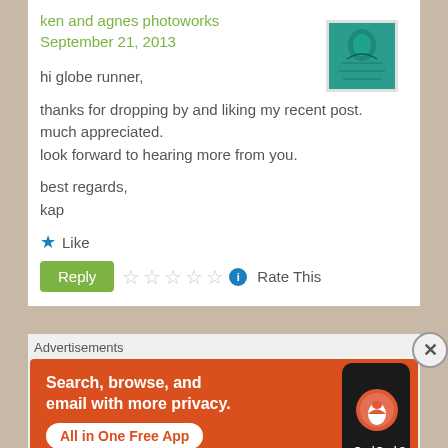ken and agnes photoworks
September 21, 2013
hi globe runner,

thanks for dropping by and liking my recent post. much appreciated.
look forward to hearing more from you.

best regards,
kap
Like
Reply | ★★★★★ Rate This
[Figure (illustration): Teal/blue decorative avatar image with carved or embossed pattern]
Advertisements
[Figure (screenshot): DuckDuckGo advertisement banner: 'Search, browse, and email with more privacy. All in One Free App' with DuckDuckGo logo on a phone on orange/red background]